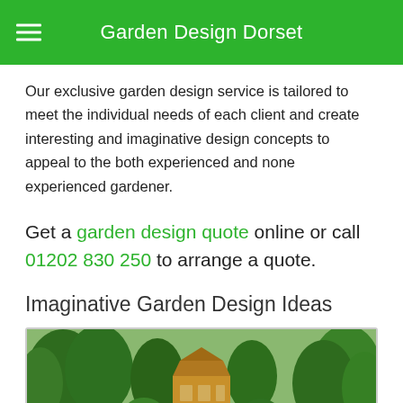Garden Design Dorset
Our exclusive garden design service is tailored to meet the individual needs of each client and create interesting and imaginative design concepts to appeal to the both experienced and none experienced gardener.
Get a garden design quote online or call 01202 830 250 to arrange a quote.
Imaginative Garden Design Ideas
[Figure (photo): Photograph of a garden with a wooden gazebo surrounded by lush green trees and shrubs, with a manicured lawn in the foreground.]